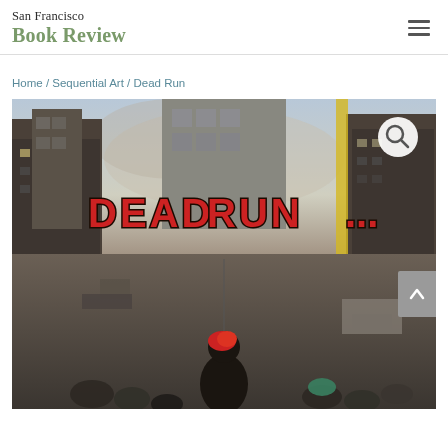San Francisco Book Review
Home / Sequential Art / Dead Run
[Figure (photo): Book cover of 'Dead Run' showing a post-apocalyptic city street scene with the title 'DEAD RUN...' in large red graffiti-style text, a figure with red hair viewed from behind standing in a ruined urban street with tall buildings on either side.]